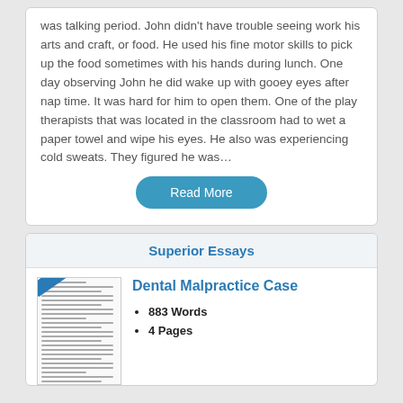was talking period. John didn't have trouble seeing work his arts and craft, or food. He used his fine motor skills to pick up the food sometimes with his hands during lunch. One day observing John he did wake up with gooey eyes after nap time. It was hard for him to open them. One of the play therapists that was located in the classroom had to wet a paper towel and wipe his eyes. He also was experiencing cold sweats. They figured he was…
Read More
Superior Essays
Dental Malpractice Case
883 Words
4 Pages